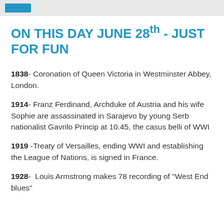ON THIS DAY JUNE 28th - JUST FOR FUN
1838- Coronation of Queen Victoria in Westminster Abbey, London.
1914- Franz Ferdinand, Archduke of Austria and his wife Sophie are assassinated in Sarajevo by young Serb nationalist Gavrilo Princip at 10.45, the casus belli of WWI
1919 -Treaty of Versailles, ending WWI and establishing the League of Nations, is signed in France.
1928-  Louis Armstrong makes 78 recording of "West End blues"